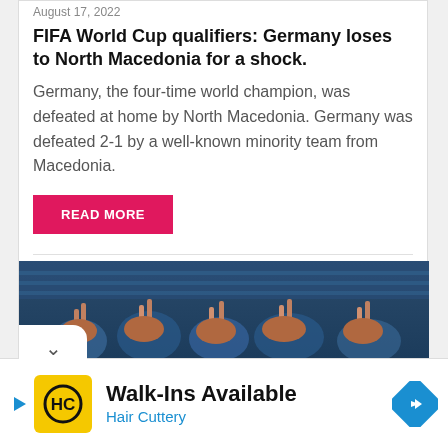August 17, 2022
FIFA World Cup qualifiers: Germany loses to North Macedonia for a shock.
Germany, the four-time world champion, was defeated at home by North Macedonia. Germany was defeated 2-1 by a well-known minority team from Macedonia.
READ MORE
[Figure (photo): Crowd of football fans celebrating in a stadium, arms raised]
Walk-Ins Available
Hair Cuttery